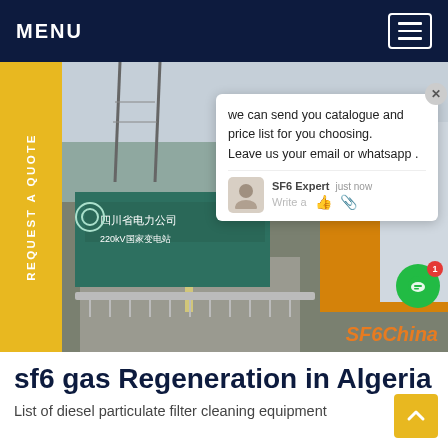MENU
[Figure (photo): Street-level photo of a Chinese power company facility (四川省电力公司 220kV国家变电站) with a yellow truck, overhead power lines, and fencing. Overlaid with a chat popup from SF6 Expert saying 'we can send you catalogue and price list for you choosing. Leave us your email or whatsapp.' with SF6China watermark.]
sf6 gas Regeneration in Algeria
List of diesel particulate filter cleaning equipment